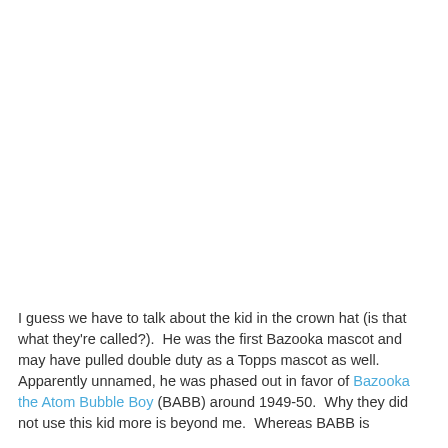I guess we have to talk about the kid in the crown hat (is that what they're called?).  He was the first Bazooka mascot and may have pulled double duty as a Topps mascot as well.  Apparently unnamed, he was phased out in favor of Bazooka the Atom Bubble Boy (BABB) around 1949-50.  Why they did not use this kid more is beyond me.  Whereas BABB is odd-looking in a way that makes things awkward...